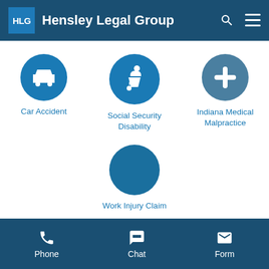HLG Hensley Legal Group
[Figure (illustration): Navigation menu icons: car accident circle with car icon, social security disability circle with wheelchair icon, Indiana medical malpractice circle with asterisk/medical icon, work injury claim circle]
Car Accident
Social Security Disability
Indiana Medical Malpractice
Work Injury Claim
Phone  Chat  Form